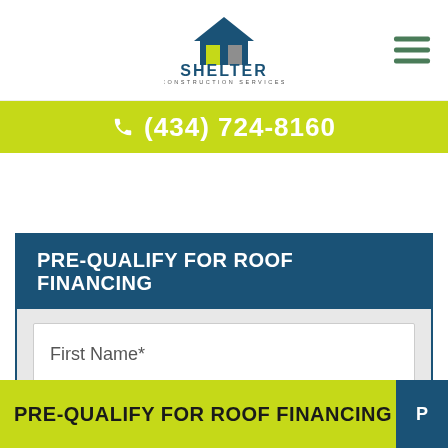[Figure (logo): Shelter Construction Services logo with house/roof icon and company name]
(434) 724-8160
PRE-QUALIFY FOR ROOF FINANCING
First Name*
Last Name*
PRE-QUALIFY FOR ROOF FINANCING